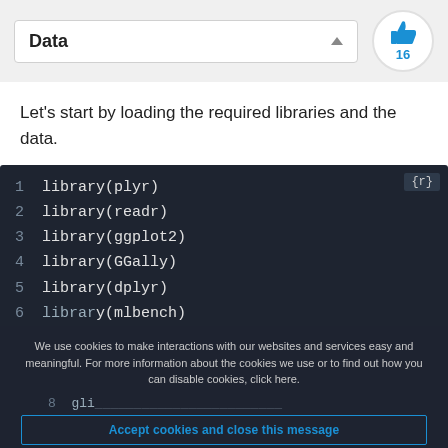Data
Let's start by loading the required libraries and the data.
[Figure (screenshot): Dark-themed code block showing R code: library(plyr), library(readr), library(ggplot2), library(GGally), library(dplyr), library(mlbench), with a {r} badge in the top right corner]
We use cookies to make interactions with our websites and services easy and meaningful. For more information about the cookies we use or to find out how you can disable cookies, click here.
Accept cookies and close this message
Disable cookies
Output